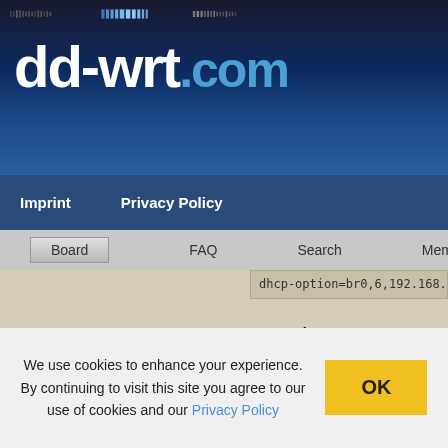[Figure (screenshot): dd-wrt.com logo with dotted pattern header on dark blue gradient background]
Imprint   Privacy Policy
Board   FAQ   Search   Memberlist   User
dhcp-option=br0,6,192.168.1.110
PavelVD wrote:
In the "Additional Dnsmasq Options" setti
Code:
dhcp-option = br0,6,192.1
We use cookies to enhance your experience. By continuing to visit this site you agree to our use of cookies and our Privacy Policy